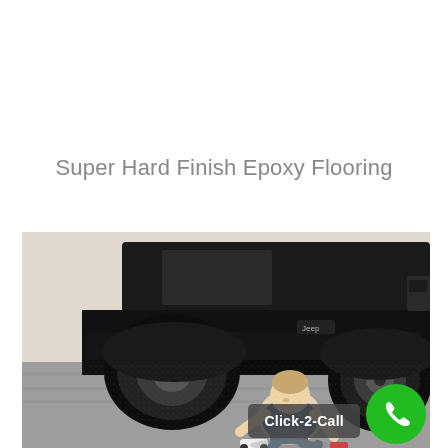Super Hard Finish Epoxy Flooring
[Figure (photo): A young toddler sitting on a gray epoxy-finished garage floor next to a black Jeep vehicle, playing with toy cars. A green phone icon button and 'Click-2-Call' button overlay appear in the lower right corner of the image.]
Click-2-Call